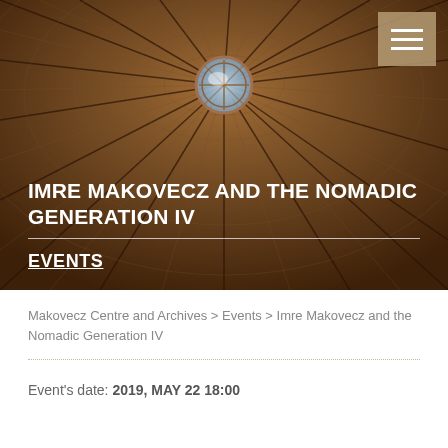[Figure (photo): Interior view of a wooden dome ceiling with radial beams converging at a central skylight, warm brown tones]
IMRE MAKOVECZ AND THE NOMADIC GENERATION IV
EVENTS
Makovecz Centre and Archives > Events > Imre Makovecz and the Nomadic Generation IV
Event's date: 2019, MAY 22 18:00